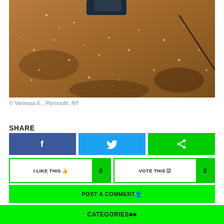[Figure (photo): Close-up photo of sandy/pebbly ground with sparkles, with a dark object at the top and a diagonal line/crack across the surface]
© Vanessa E., Plymouth, NY
SHARE
[Figure (infographic): Three share buttons: Facebook (blue with f icon), Twitter (light blue with bird icon), Share (green with share icon)]
[Figure (infographic): Two action buttons: I LIKE THIS with thumbs up icon and count 0, VOTE THIS with checkbox icon and count 0]
POST A COMMENT
CATEGORIES